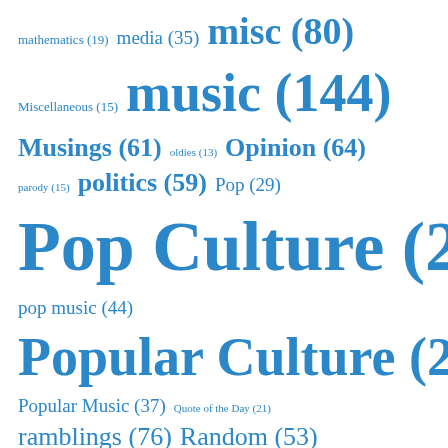[Figure (infographic): Tag cloud of blog categories with sizes proportional to post counts. Tags include: mathematics (19), media (35), misc (80), Miscellaneous (15), music (144), Musings (61), oldies (13), Opinion (64), parody (15), politics (59), Pop (29), Pop Culture (298), pop music (44), Popular Culture (207), Popular Music (37), Quote of the Day (21), ramblings (76), Random (53), random thoughts (73), Rants (57), Rock (19), satire (98), Science and Technology (52), tasteless (25), Thoughts (62), television (6 partial)]